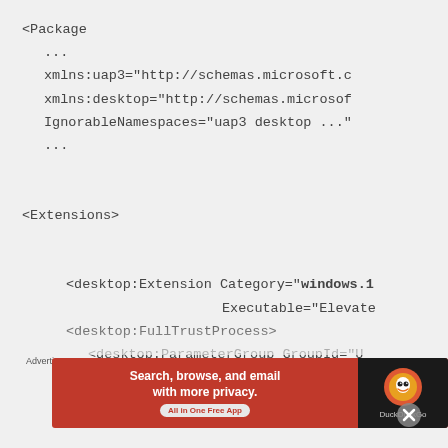<Package
  ...
  xmlns:uap3="http://schemas.microsoft.c
  xmlns:desktop="http://schemas.microsof
  IgnorableNamespaces="uap3 desktop ..."
  ...

<Extensions>

  <desktop:Extension Category="windows.1
                     Executable="Elevate
    <desktop:FullTrustProcess>
      <desktop:ParameterGroup GroupId="U
      <desktop:ParameterGroup GroupId=
[Figure (other): DuckDuckGo advertisement banner with orange background, showing 'Search, browse, and email with more privacy. All in One Free App' text with DuckDuckGo duck logo on dark right panel.]